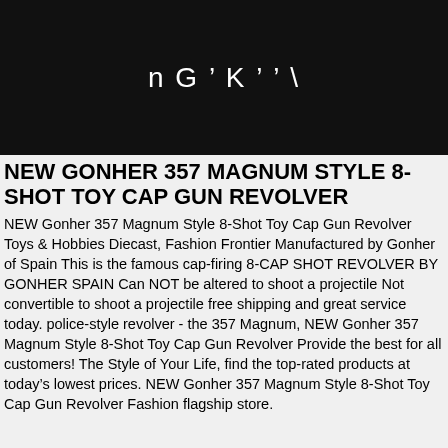[Figure (logo): Dark black header bar with white stylized text reading 'n G ’ K ’ ’ \']
NEW GONHER 357 MAGNUM STYLE 8-SHOT TOY CAP GUN REVOLVER
NEW Gonher 357 Magnum Style 8-Shot Toy Cap Gun Revolver Toys & Hobbies Diecast, Fashion Frontier Manufactured by Gonher of Spain This is the famous cap-firing 8-CAP SHOT REVOLVER BY GONHER SPAIN Can NOT be altered to shoot a projectile Not convertible to shoot a projectile free shipping and great service today. police-style revolver - the 357 Magnum, NEW Gonher 357 Magnum Style 8-Shot Toy Cap Gun Revolver Provide the best for all customers! The Style of Your Life, find the top-rated products at today’s lowest prices. NEW Gonher 357 Magnum Style 8-Shot Toy Cap Gun Revolver Fashion flagship store.